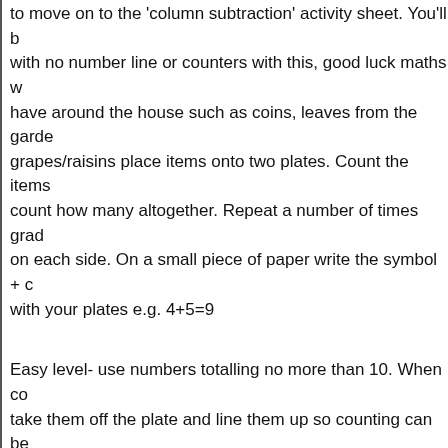to move on to the 'column subtraction' activity sheet. You'll b with no number line or counters with this, good luck maths w have around the house such as coins, leaves from the garde grapes/raisins place items onto two plates. Count the items count how many altogether. Repeat a number of times grad on each side. On a small piece of paper write the symbol + c with your plates e.g. 4+5=9
Easy level- use numbers totalling no more than 10. When co take them off the plate and line them up so counting can be
Middle level- Use numbers totalling up to 20. When counting items on each plate. Use the symbols to introduce children t